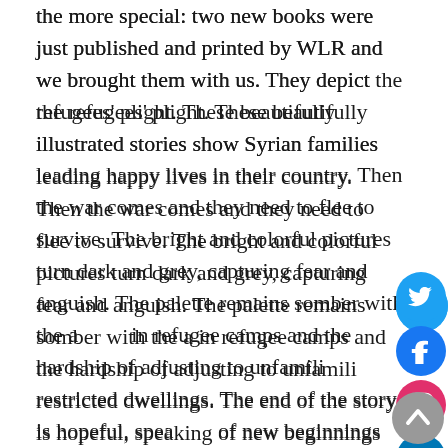the more special: two new books were just published and printed by WLR and we brought them with us. They depict the refugees' plight. These beautifully illustrated stories show Syrian families leading happy lives in their country. Then the war comes and they need to flee to survive. The bright and colorful pictures turn dark and grey, capturing fear and anguish. The palette remains somber with the arrival in refugee camps and the hardship of adjusting to unfamiliar restricted dwellings. The end of the story is hopeful, speaking of new beginnings and fresh possibilities in an environment that at first felt foreign and distant. Children paid close attention, a sort of quiet observation, to this new story. I sensed it is a narrative they know all too well.
For the ambassadors, reading aloud becomes an essential medium for communication between generations, a way to
[Figure (other): Social media floating buttons: Twitter (blue), Facebook (blue), Instagram (pink/purple), LinkedIn (blue), YouTube (red), and a scroll-to-top grey button]